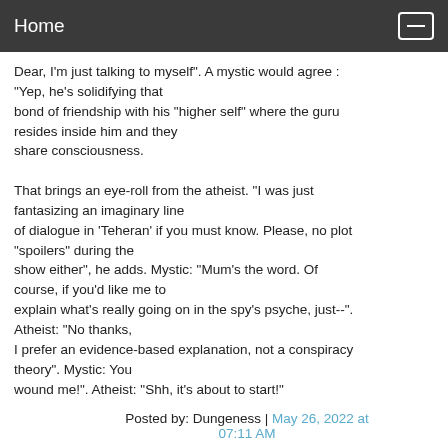Home
Dear, I'm just talking to myself". A mystic would agree : "Yep, he's solidifying that bond of friendship with his "higher self" where the guru resides inside him and they share consciousness.

That brings an eye-roll from the atheist. "I was just fantasizing an imaginary line of dialogue in 'Teheran' if you must know. Please, no plot "spoilers" during the show either", he adds. Mystic: "Mum's the word. Of course, if you'd like me to explain what's really going on in the spy's psyche, just--". Atheist: "No thanks, I prefer an evidence-based explanation, not a conspiracy theory". Mystic: You wound me!". Atheist: "Shh, it's about to start!"
Posted by: Dungeness | May 26, 2022 at 07:11 AM